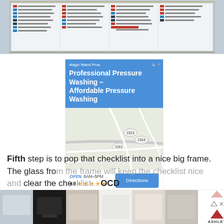[Figure (photo): Top portion of a framed household chore checklist chart with colored rows and columns]
[Figure (screenshot): Advertisement for Magic Wand Pros Professional Pressure Washing with Google Maps location, open hours 8AM-5PM, rating 4.9 stars, and Directions button]
Fifth step is to pop that checklist into a nice big frame. The glass from the frame will keep the checklist nice and clear the checklist... OCD
[Figure (screenshot): Ashley Furniture advertisement strip with room/furniture thumbnail images]